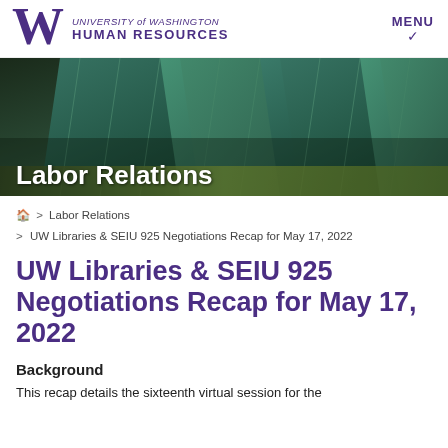UNIVERSITY of WASHINGTON HUMAN RESOURCES | MENU
[Figure (photo): Hero banner image of a modern glass building with angular architecture, overlaid with 'Labor Relations' text in white]
🏠 > Labor Relations > UW Libraries & SEIU 925 Negotiations Recap for May 17, 2022
UW Libraries & SEIU 925 Negotiations Recap for May 17, 2022
Background
This recap details the sixteenth virtual session for the